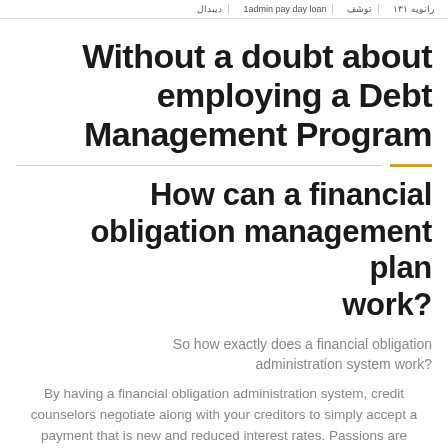دیبدال | 1admin pay day loan | توشف | رانویه ۱۳۱
Without a doubt about employing a Debt Management Program
How can a financial obligation management plan work?
So how exactly does a financial obligation administration system work?
By having a financial obligation administration system, credit counselors negotiate along with your creditors to simply accept a payment that is new and reduced interest rates. Passions are normally taken for zero per cent as much as about eleven per